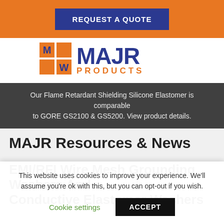REQUEST A QUOTE
[Figure (logo): MAJR Products logo — orange/blue square M-W icon with blue MAJR text and orange PRODUCTS text]
Our Flame Retardant Shielding Silicone Elastomer is comparable to GORE GS2100 & GS5200. View product details.
MAJR Resources & News
EMI/RFI Wire Mesh Grounding Washers And Conductive Elastomer Washers
This website uses cookies to improve your experience. We'll assume you're ok with this, but you can opt-out if you wish.
Cookie settings   ACCEPT